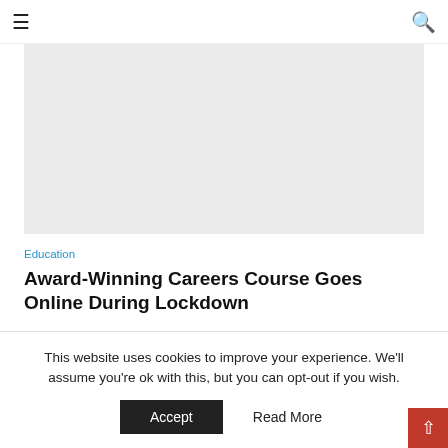≡  🔍
[Figure (photo): Light gray placeholder image area for article header photo]
Education
Award-Winning Careers Course Goes Online During Lockdown
This website uses cookies to improve your experience. We'll assume you're ok with this, but you can opt-out if you wish. Accept  Read More